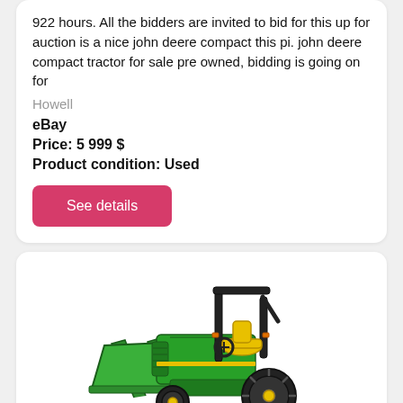922 hours. All the bidders are invited to bid for this up for auction is a nice john deere compact this pi. john deere compact tractor for sale pre owned, bidding is going on for
Howell
eBay
Price: 5 999 $
Product condition: Used
See details
[Figure (photo): A green John Deere compact tractor with front loader and yellow seat, shown at an angle. Watermark reads 'Genuine Manual'.]